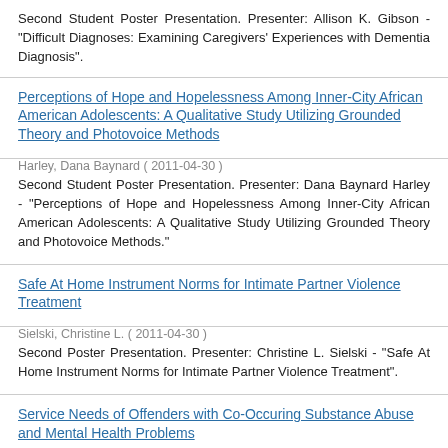Second Student Poster Presentation. Presenter: Allison K. Gibson - "Difficult Diagnoses: Examining Caregivers' Experiences with Dementia Diagnosis".
Perceptions of Hope and Hopelessness Among Inner-City African American Adolescents: A Qualitative Study Utilizing Grounded Theory and Photovoice Methods
Harley, Dana Baynard ( 2011-04-30 )
Second Student Poster Presentation. Presenter: Dana Baynard Harley - "Perceptions of Hope and Hopelessness Among Inner-City African American Adolescents: A Qualitative Study Utilizing Grounded Theory and Photovoice Methods."
Safe At Home Instrument Norms for Intimate Partner Violence Treatment
Sielski, Christine L. ( 2011-04-30 )
Second Poster Presentation. Presenter: Christine L. Sielski - "Safe At Home Instrument Norms for Intimate Partner Violence Treatment".
Service Needs of Offenders with Co-Occuring Substance Abuse and Mental Health Problems
Burkhead, Nitisha ( 2011-04-30 )